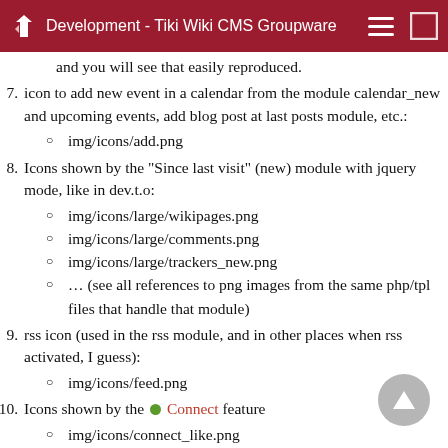Development - Tiki Wiki CMS Groupware
and you will see that easily reproduced.
7. icon to add new event in a calendar from the module calendar_new and upcoming events, add blog post at last posts module, etc.:
img/icons/add.png
8. Icons shown by the "Since last visit" (new) module with jquery mode, like in dev.t.o:
img/icons/large/wikipages.png
img/icons/large/comments.png
img/icons/large/trackers_new.png
... (see all references to png images from the same php/tpl files that handle that module)
9. rss icon (used in the rss module, and in other places when rss activated, I guess):
img/icons/feed.png
10. Icons shown by the Connect feature
img/icons/connect_like.png